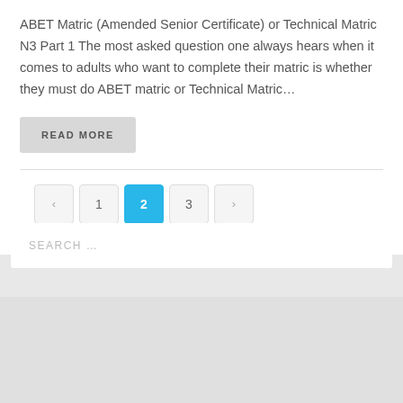ABET Matric (Amended Senior Certificate) or Technical Matric N3 Part 1 The most asked question one always hears when it comes to adults who want to complete their matric is whether they must do ABET matric or Technical Matric…
READ MORE
< 1 2 3 >
SEARCH …